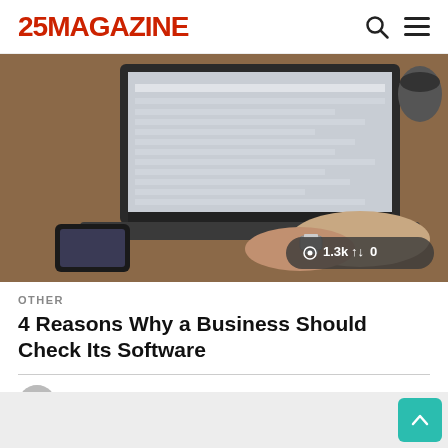25MAGAZINE
[Figure (photo): Person typing on laptop with smartphone on wooden desk, with view stats overlay showing 1.3k views and 0 shares]
OTHER
4 Reasons Why a Business Should Check Its Software
by Heather 1 month ago